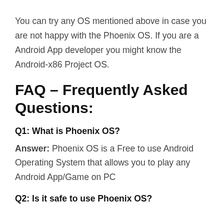You can try any OS mentioned above in case you are not happy with the Phoenix OS. If you are a Android App developer you might know the Android-x86 Project OS.
FAQ – Frequently Asked Questions:
Q1: What is Phoenix OS?
Answer: Phoenix OS is a Free to use Android Operating System that allows you to play any Android App/Game on PC
Q2: Is it safe to use Phoenix OS?